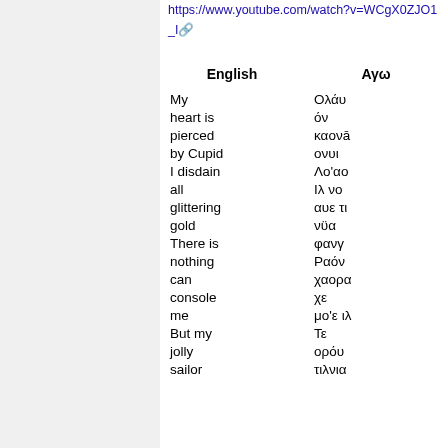https://www.youtube.com/watch?v=WCgX0ZJO1_I
| English | Αγω |
| --- | --- |
| My | Ολάυ |
| heart is | όν |
| pierced | καονā |
| by Cupid | ονυι |
| I disdain | Λο'αο |
| all | Ιλ νο |
| glittering | αυε τι |
| gold | νϋα |
| There is | φανγ |
| nothing | Ραόν |
| can | χαορα |
| console | χε |
| me | μο'ε ιλ |
| But my | Τε |
| jolly | ορόυ |
| sailor | τιλνια |